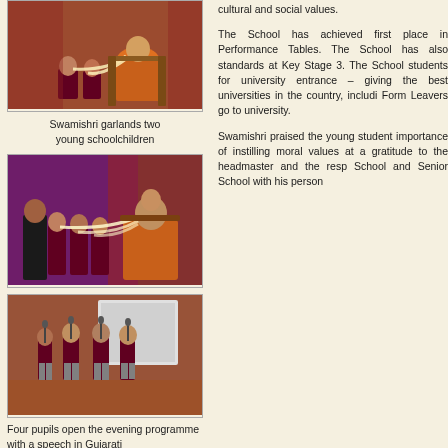[Figure (photo): Swamishri seated on a chair garlands two young schoolchildren in maroon blazers at a colorful event venue]
Swamishri garlands two young schoolchildren
The School has achieved first place in Performance Tables. The School has also standards at Key Stage 3. The School students for university entrance – giving the best universities in the country, includi Form Leavers go to university.
[Figure (photo): Swamishri seated garlands children with floral garlands at an event with purple and red lighting]
Swamishri praised the young student importance of instilling moral values at a gratitude to the headmaster and the resp School and Senior School with his person
[Figure (photo): Four pupils in maroon blazers stand at microphones on a stage giving speeches]
Four pupils open the evening programme with a speech in Gujarati